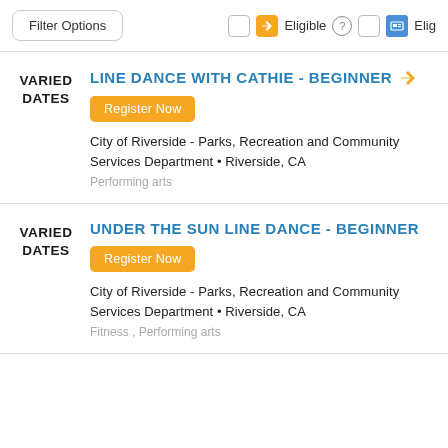Filter Options | Eligible | Elig
VARIED DATES - LINE DANCE WITH CATHIE - BEGINNER
Register Now
City of Riverside - Parks, Recreation and Community Services Department • Riverside, CA
Performing arts
VARIED DATES - UNDER THE SUN LINE DANCE - BEGINNER
Register Now
City of Riverside - Parks, Recreation and Community Services Department • Riverside, CA
Fitness , Performing arts